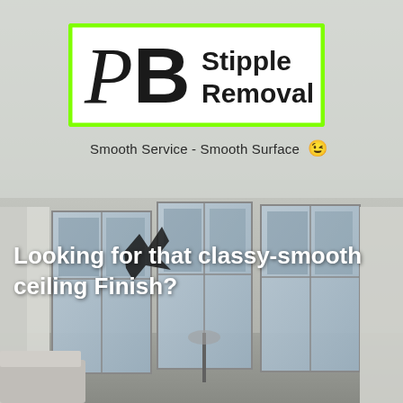[Figure (logo): PB Stipple Removal logo — green rectangle border with italic P, bold B, and 'Stipple Removal' text in black]
Smooth Service - Smooth Surface 😊
[Figure (photo): Interior room photo showing a bright modern living space with tall windows, white walls, smooth ceiling, curtains, and minimal furniture]
Looking for that classy-smooth ceiling Finish?